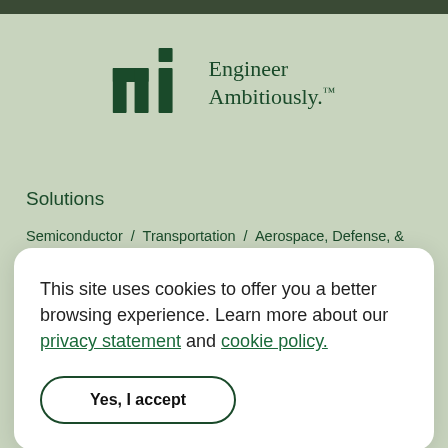[Figure (logo): NI (National Instruments) logo with 'Engineer Ambitiously.™' tagline on green background]
Solutions
Semiconductor  /  Transportation  /  Aerospace, Defense, &  Government  /  Academic & Research  /  Electronics  /
This site uses cookies to offer you a better browsing experience. Learn more about our privacy statement and cookie policy.
Yes, I accept